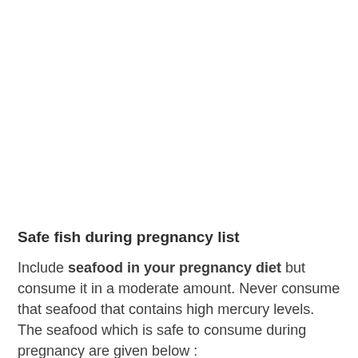Safe fish during pregnancy list
Include seafood in your pregnancy diet but consume it in a moderate amount. Never consume that seafood that contains high mercury levels. The seafood which is safe to consume during pregnancy are given below :